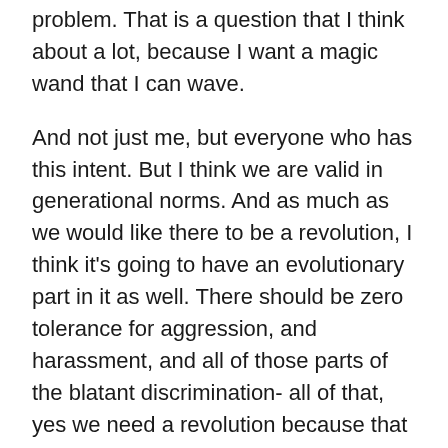problem. That is a question that I think about a lot, because I want a magic wand that I can wave.
And not just me, but everyone who has this intent. But I think we are valid in generational norms. And as much as we would like there to be a revolution, I think it's going to have an evolutionary part in it as well. There should be zero tolerance for aggression, and harassment, and all of those parts of the blatant discrimination- all of that, yes we need a revolution because that has to stop.
I think the other part is we really need to be more evolutionary. You know we feel awareness, we share data, we encourage, we put systems into place that make this possible. I used to think it was just a field of